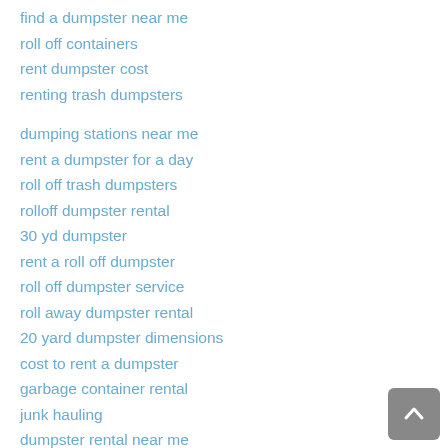find a dumpster near me
roll off containers
rent dumpster cost
renting trash dumpsters
dumping stations near me
rent a dumpster for a day
roll off trash dumpsters
rolloff dumpster rental
30 yd dumpster
rent a roll off dumpster
roll off dumpster service
roll away dumpster rental
20 yard dumpster dimensions
cost to rent a dumpster
garbage container rental
junk hauling
dumpster rental near me
waste management dumpster prices